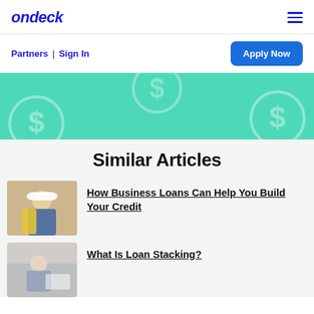[Figure (logo): OnDeck logo in bold blue italic text]
Partners | Sign In
Apply Now
[Figure (illustration): Teal/mint green banner with dollar sign circle watermarks]
Similar Articles
[Figure (photo): Worker wearing hard hat and yellow vest looking at tablet]
How Business Loans Can Help You Build Your Credit
[Figure (photo): Person at desk, loan stacking article thumbnail]
What Is Loan Stacking?